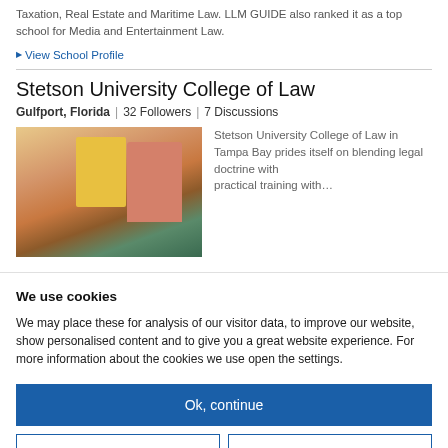Taxation, Real Estate and Maritime Law. LLM GUIDE also ranked it as a top school for Media and Entertainment Law.
▶ View School Profile
Stetson University College of Law
Gulfport, Florida  |  32 Followers  |  7 Discussions
[Figure (photo): Photo of Stetson University College of Law building in Tampa Bay area, showing colorful architecture with palm trees]
Stetson University College of Law in Tampa Bay prides itself on blending legal doctrine with…
We use cookies
We may place these for analysis of our visitor data, to improve our website, show personalised content and to give you a great website experience. For more information about the cookies we use open the settings.
Ok, continue
Deny
No, adjust